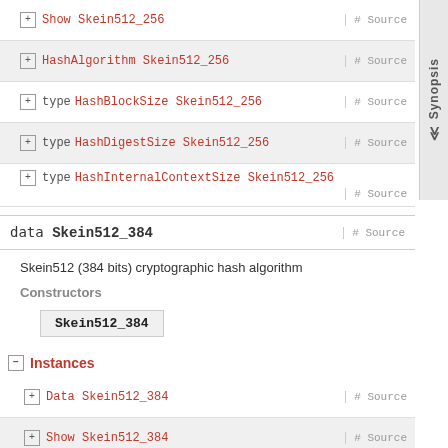+ Show Skein512_256  # Source
+ HashAlgorithm Skein512_256  # Source
+ type HashBlockSize Skein512_256  # Source
+ type HashDigestSize Skein512_256  # Source
+ type HashInternalContextSize Skein512_256  # Source
data Skein512_384  # Source
Skein512 (384 bits) cryptographic hash algorithm
Constructors
Skein512_384
Instances
+ Data Skein512_384  # Source
+ Show Skein512_384  # Source
+ HashAlgorithm Skein512_384  # Source
+ type HashBlockSize Skein512_384  # Source
+ type HashDigestSize Skein512_384  # Source